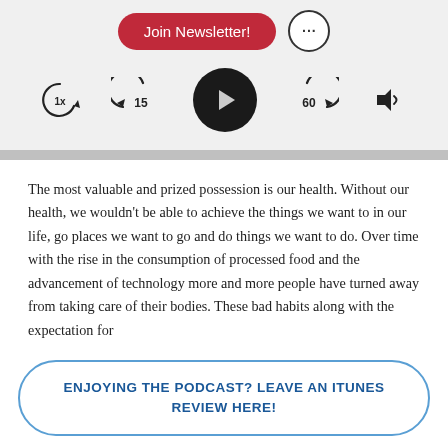[Figure (screenshot): Podcast player UI with Join Newsletter button, three-dot menu, playback controls (1x speed, rewind 15s, play, forward 60s, volume), and a progress bar on a gray background.]
The most valuable and prized possession is our health. Without our health, we wouldn't be able to achieve the things we want to in our life, go places we want to go and do things we want to do. Over time with the rise in the consumption of processed food and the advancement of technology more and more people have turned away from taking care of their bodies. These bad habits along with the expectation for
ENJOYING THE PODCAST? LEAVE AN ITUNES REVIEW HERE!